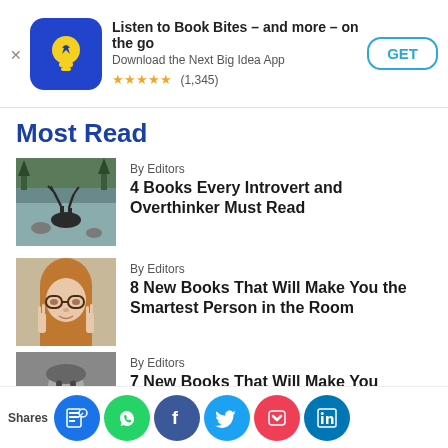[Figure (screenshot): App store ad banner for Next Big Idea App with icon, title 'Listen to Book Bites – and more – on the go', subtitle 'Download the Next Big Idea App', 5 stars rating (1,345), and a GET button]
Most Read
[Figure (photo): Landscape photo of a moose in a rocky river with forest]
By Editors
4 Books Every Introvert and Overthinker Must Read
[Figure (photo): Woman with glasses looking up]
By Editors
8 New Books That Will Make You the Smartest Person in the Room
[Figure (photo): Black and white photo of a young child]
By Editors
7 New Books That Will Make You Rethink Everything You Know
[Figure (infographic): Social share bar with icons: share app, WhatsApp, Facebook, Twitter, Pocket, LinkedIn]